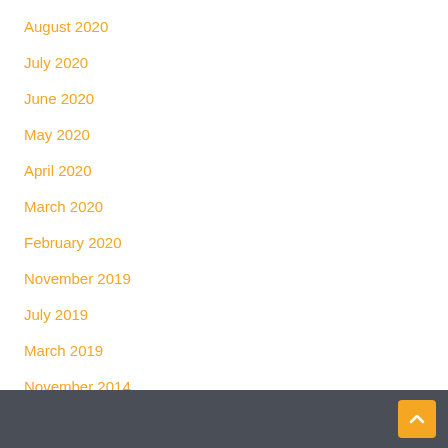August 2020
July 2020
June 2020
May 2020
April 2020
March 2020
February 2020
November 2019
July 2019
March 2019
November 2014